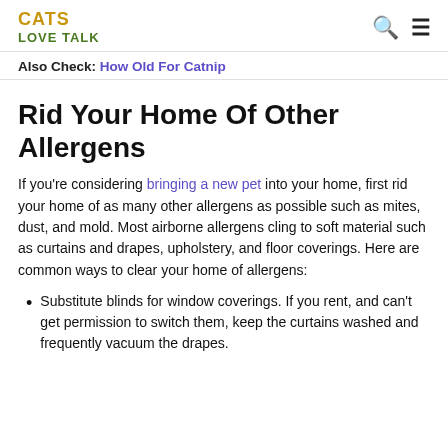CATS LOVE TALK
Also Check: How Old For Catnip
Rid Your Home Of Other Allergens
If you're considering bringing a new pet into your home, first rid your home of as many other allergens as possible such as mites, dust, and mold. Most airborne allergens cling to soft material such as curtains and drapes, upholstery, and floor coverings. Here are common ways to clear your home of allergens:
Substitute blinds for window coverings. If you rent, and can't get permission to switch them, keep the curtains washed and frequently vacuum the drapes.